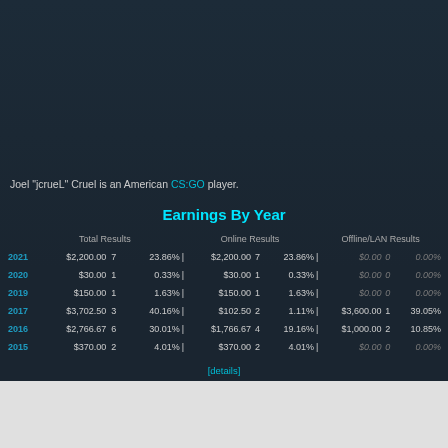Joel "jcrueL" Cruel is an American CS:GO player.
Earnings By Year
|  | Total Results |  | Online Results |  | Offline/LAN Results |
| --- | --- | --- | --- | --- | --- |
| 2021 | $2,200.00 | 7 | 23.86% | | | $2,200.00 | 7 | 23.86% | | | $0.00 | 0 | 0.00% |
| 2020 | $30.00 | 1 | 0.33% | | | $30.00 | 1 | 0.33% | | | $0.00 | 0 | 0.00% |
| 2019 | $150.00 | 1 | 1.63% | | | $150.00 | 1 | 1.63% | | | $0.00 | 0 | 0.00% |
| 2017 | $3,702.50 | 3 | 40.16% | | | $102.50 | 2 | 1.11% | | | $3,600.00 | 1 | 39.05% |
| 2016 | $2,766.67 | 6 | 30.01% | | | $1,766.67 | 4 | 19.16% | | | $1,000.00 | 2 | 10.85% |
| 2015 | $370.00 | 2 | 4.01% | | | $370.00 | 2 | 4.01% | | | $0.00 | 0 | 0.00% |
[details]